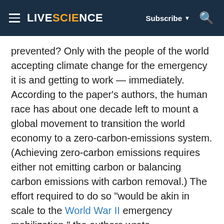LIVESCIENCE  Subscribe  🔍
prevented? Only with the people of the world accepting climate change for the emergency it is and getting to work — immediately. According to the paper's authors, the human race has about one decade left to mount a global movement to transition the world economy to a zero-carbon-emissions system. (Achieving zero-carbon emissions requires either not emitting carbon or balancing carbon emissions with carbon removal.) The effort required to do so "would be akin in scale to the World War II emergency mobilization," the authors wrote.
The new policy paper was endorsed with a foreword by Adm. Chris Barrie, a retired Australian defense chief...